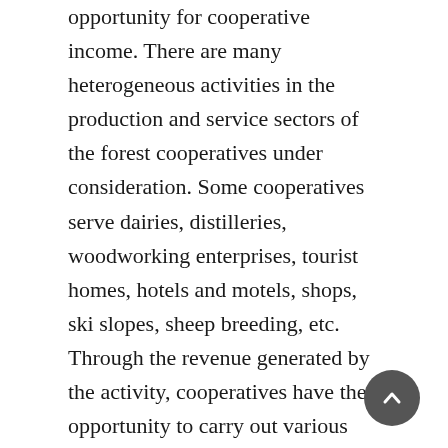opportunity for cooperative income. There are many heterogeneous activities in the production and service sectors of the forest cooperatives under consideration. Some cooperatives serve dairies, distilleries, woodworking enterprises, tourist homes, hotels and motels, shops, ski slopes, sheep breeding, etc. Through the revenue generated by the activity, cooperatives have the opportunity to carry out various environmental and protective activities - recreation, water protection, protection of endangered and endemic species, etc., which in the case of small-scale forests cannot be achieved and the management is not sustainable. The conclusions indicate the results received in the analysis. Cooperative management of forests and forest lands gives higher incomes to individual owners. The management of forests and forest lands through cooperatives helps to carry out different environmental and protective activities.